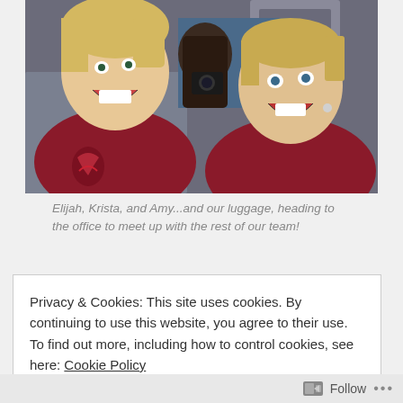[Figure (photo): Photo of three people (Elijah, Krista, and Amy) laughing and smiling inside a vehicle, wearing dark red/maroon t-shirts. Two women visible in foreground, one person partially visible in back.]
Elijah, Krista, and Amy...and our luggage, heading to the office to meet up with the rest of our team!
Privacy & Cookies: This site uses cookies. By continuing to use this website, you agree to their use.
To find out more, including how to control cookies, see here: Cookie Policy
Close and accept
Follow